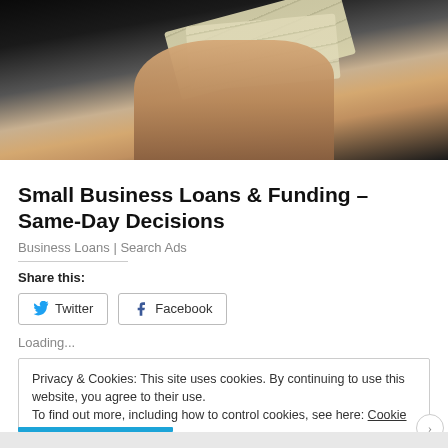[Figure (photo): Hands holding/fanning out paper money bills against a dark background]
Small Business Loans & Funding – Same-Day Decisions
Business Loans | Search Ads
Share this:
Twitter
Facebook
Loading...
Privacy & Cookies: This site uses cookies. By continuing to use this website, you agree to their use.
To find out more, including how to control cookies, see here: Cookie Policy
Close and accept